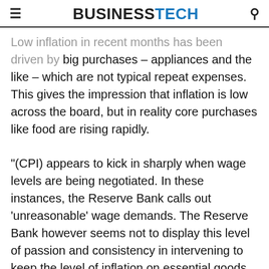BUSINESSTECH
Low inflation in recent months has been driven by big purchases – appliances and the like – which are not typical repeat expenses. This gives the impression that inflation is low across the board, but in reality core purchases like food are rising rapidly.
"(CPI) appears to kick in sharply when wage levels are being negotiated. In these instances, the Reserve Bank calls out 'unreasonable' wage demands. The Reserve Bank however seems not to display this level of passion and consistency in intervening to keep the level of inflation on essential goods and services for low-income households down," it said.
For example, the group said that there appears to be a pattern from the Reserve Bank when Feb…